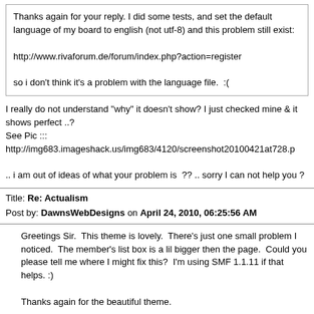Thanks again for your reply. I did some tests, and set the default language of my board to english (not utf-8) and this problem still exist:

http://www.rivaforum.de/forum/index.php?action=register

so i don't think it's a problem with the language file.  :(
I really do not understand "why" it doesn't show? I just checked mine & it shows perfect ..?
See Pic :::
http://img683.imageshack.us/img683/4120/screenshot20100421at728.p

.. i am out of ideas of what your problem is  ?? .. sorry I can not help you ?
Title: Re: Actualism
Post by: DawnsWebDesigns on April 24, 2010, 06:25:56 AM
Greetings Sir.  This theme is lovely.  There's just one small problem I noticed.  The member's list box is a lil bigger then the page.  Could you please tell me where I might fix this?  I'm using SMF 1.1.11 if that helps. :)

Thanks again for the beautiful theme.